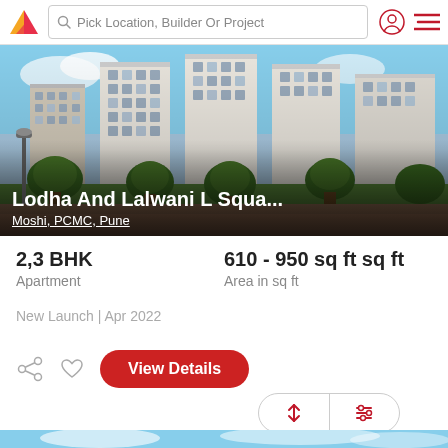Pick Location, Builder Or Project
[Figure (photo): Apartment building complex with multiple white high-rise towers, greenery in the foreground, street lamps visible on the left side]
Lodha And Lalwani L Squa...
Moshi, PCMC, Pune
2,3 BHK
Apartment
610 - 950 sq ft sq ft
Area in sq ft
New Launch | Apr 2022
View Details
[Figure (photo): Partial view of a building exterior with blue sky background, cut off at bottom of page]